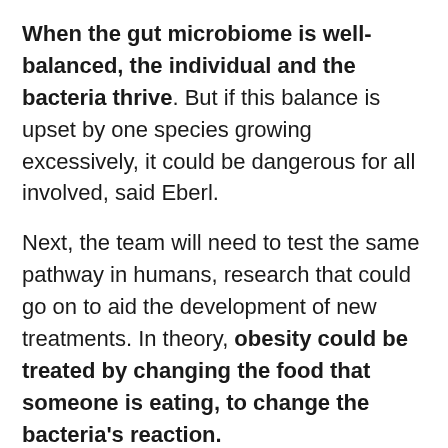When the gut microbiome is well-balanced, the individual and the bacteria thrive. But if this balance is upset by one species growing excessively, it could be dangerous for all involved, said Eberl.
Next, the team will need to test the same pathway in humans, research that could go on to aid the development of new treatments. In theory, obesity could be treated by changing the food that someone is eating, to change the bacteria's reaction.
“In human studies, these bacterial fragments have been associated with sleeping disorders. Mutations [to the receptors] are associated with mood disorder and neurodegenerative diseases like Alzheimer’s,” said Eberl. While there is still more to uncover about how our gut communicates with our brain, the new research shows just